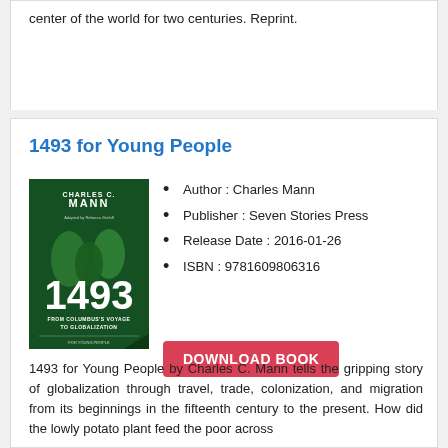center of the world for two centuries. Reprint.
1493 for Young People
[Figure (illustration): Book cover of '1493 for Young People' by Charles C. Mann, featuring dark green background with '1493' in large white numerals and subtitle 'From Columbus's Voyage to Globalization']
Author : Charles Mann
Publisher : Seven Stories Press
Release Date : 2016-01-26
ISBN : 9781609806316
DOWNLOAD BOOK
1493 for Young People by Charles C. Mann tells the gripping story of globalization through travel, trade, colonization, and migration from its beginnings in the fifteenth century to the present. How did the lowly potato plant feed the poor across